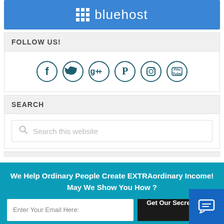[Figure (logo): Bluehost blue banner with grid icon and bluehost text in white]
FOLLOW US!
[Figure (infographic): Six circular social media icons: Facebook, Twitter, Google+, Pinterest, Instagram, YouTube]
SEARCH
Search this website
We Help Ordinary People Create EXTRAordinary Income!
May We Show You How ?
Enter Your Email Here:
Get Our Secret Now